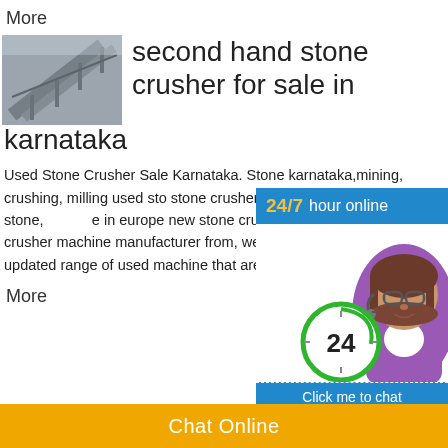More
second hand stone crusher for sale in karnataka
[Figure (photo): Industrial conveyor or stone crusher machinery, grayscale photo]
Used Stone Crusher Sale Karnataka. Stone karnataka,mining, crushing, milling used sto stone crushers for sale,second hand stone, in europe new stone crusher hat now used e crusher machine manufacturer from, we ho offering functionally updated range of used machine that are safe in.
[Figure (infographic): 24/7 hour online chat widget with female customer service avatar and circular clock icon showing 24]
More
Chat Online